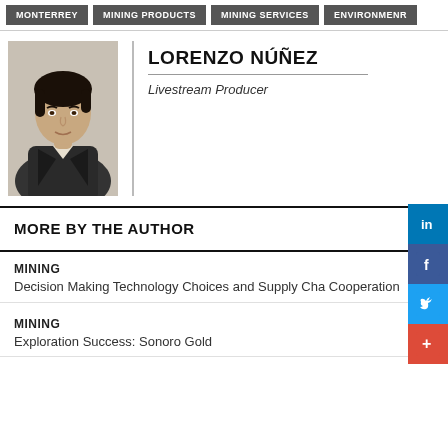MONTERREY | MINING PRODUCTS | MINING SERVICES | ENVIRONMENR
LORENZO NÚÑEZ
Livestream Producer
MORE BY THE AUTHOR
MINING
Decision Making Technology Choices and Supply Chain Cooperation
MINING
Exploration Success: Sonoro Gold